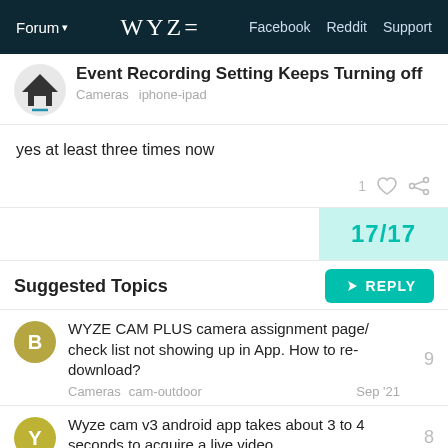Forum  WYZE  Facebook  Reddit  Support
Event Recording Setting Keeps Turning off
Cameras  iphone-ipad
yes at least three times now
1 ♡  🔗
17/17
↩ REPLY
Suggested Topics
WYZE CAM PLUS camera assignment page/ check list not showing up in App. How to re-download?  Cameras  cam-outdoor  Sep '21  9
Wyze cam v3 android app takes about 3 to 4 seconds to acquire a live video  8